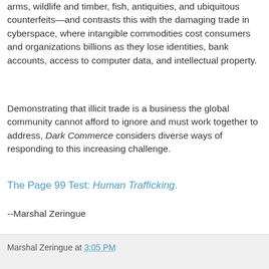arms, wildlife and timber, fish, antiquities, and ubiquitous counterfeits—and contrasts this with the damaging trade in cyberspace, where intangible commodities cost consumers and organizations billions as they lose identities, bank accounts, access to computer data, and intellectual property.
Demonstrating that illicit trade is a business the global community cannot afford to ignore and must work together to address, Dark Commerce considers diverse ways of responding to this increasing challenge.
The Page 99 Test: Human Trafficking.
--Marshal Zeringue
Marshal Zeringue at 3:05 PM